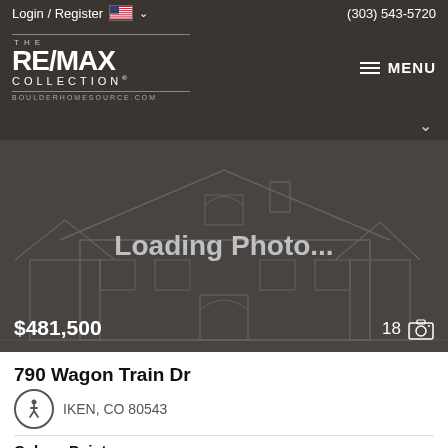Login / Register   (303) 543-5720
[Figure (logo): RE/MAX Collection logo with text 'THE RE/MAX COLLECTION BOULDERHOMESOURCE.COM' and hamburger MENU button]
[Figure (photo): Loading Photo... placeholder showing a line-art illustration of a two-story house on a dark gray background, with price $481,500 overlaid bottom-left and photo count '18' with camera icon bottom-right]
790 Wagon Train Dr
IKEN, CO 80543
Colony Pointe